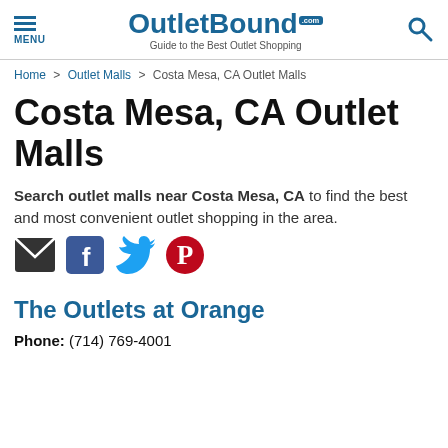OutletBound.com — Guide to the Best Outlet Shopping
Home > Outlet Malls > Costa Mesa, CA Outlet Malls
Costa Mesa, CA Outlet Malls
Search outlet malls near Costa Mesa, CA to find the best and most convenient outlet shopping in the area.
[Figure (infographic): Social share icons: email (envelope), Facebook, Twitter, Pinterest]
The Outlets at Orange
Phone: (714) 769-4001